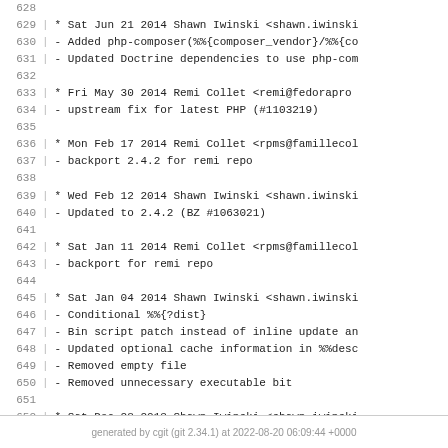628
629 * Sat Jun 21 2014 Shawn Iwinski <shawn.iwinski...
630 - Added php-composer(%%{composer_vendor}/%%{co...
631 - Updated Doctrine dependencies to use php-com...
632
633 * Fri May 30 2014 Remi Collet <remi@fedorapro...
634 - upstream fix for latest PHP (#1103219)
635
636 * Mon Feb 17 2014 Remi Collet <rpms@famillecol...
637 - backport 2.4.2 for remi repo
638
639 * Wed Feb 12 2014 Shawn Iwinski <shawn.iwinski...
640 - Updated to 2.4.2 (BZ #1063021)
641
642 * Sat Jan 11 2014 Remi Collet <rpms@famillecol...
643 - backport for remi repo
644
645 * Sat Jan 04 2014 Shawn Iwinski <shawn.iwinski...
646 - Conditional %%{?dist}
647 - Bin script patch instead of inline update an...
648 - Updated optional cache information in %%desc...
649 - Removed empty file
650 - Removed unnecessary executable bit
651
652 * Sat Dec 28 2013 Shawn Iwinski <shawn.iwinski...
653 - Initial package
generated by cgit (git 2.34.1) at 2022-08-20 06:09:44 +0000